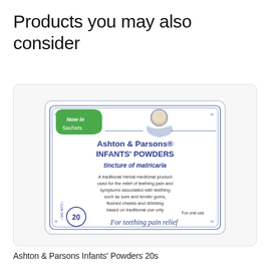Products you may also consider
[Figure (photo): Ashton & Parsons Infants' Powders 20s product packaging — a white square sachet with blue border showing baby illustration, green 'Now in Sachets' badge, product name and description about teething pain relief with tincture of matricaria]
Ashton & Parsons Infants' Powders 20s